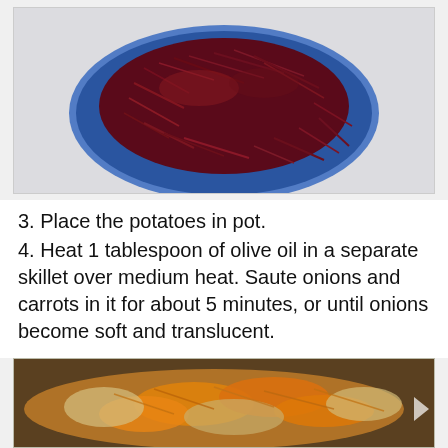[Figure (photo): Shredded dark red beets in a blue bowl on a white surface, viewed from above]
3. Place the potatoes in pot.
4. Heat 1 tablespoon of olive oil in a separate skillet over medium heat. Saute onions and carrots in it for about 5 minutes, or until onions become soft and translucent.
[Figure (photo): Sautéed shredded carrots and diced onions cooking in a stainless steel skillet, golden and translucent]